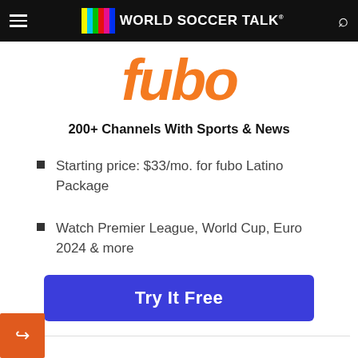World Soccer Talk
[Figure (logo): fubo streaming service logo in orange italic text]
200+ Channels With Sports & News
Starting price: $33/mo. for fubo Latino Package
Watch Premier League, World Cup, Euro 2024 & more
Try It Free